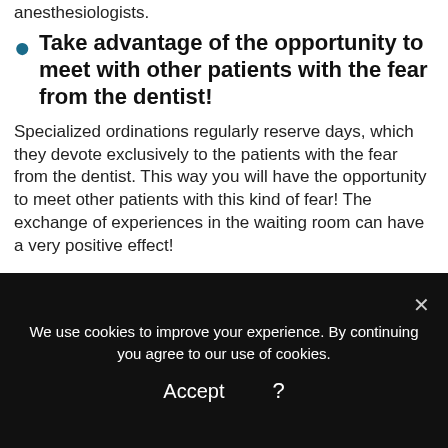anesthesiologists.
Take advantage of the opportunity to meet with other patients with the fear from the dentist!
Specialized ordinations regularly reserve days, which they devote exclusively to the patients with the fear from the dentist. This way you will have the opportunity to meet other patients with this kind of fear! The exchange of experiences in the waiting room can have a very positive effect!
We use cookies to improve your experience. By continuing you agree to our use of cookies.
Accept   ?